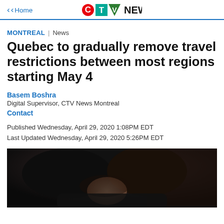< Home | CTV NEWS
MONTREAL | News
Quebec to gradually remove travel restrictions between most regions starting May 4
Basem Boshra
Digital Supervisor, CTV News Montreal
Contact
Published Wednesday, April 29, 2020 1:08PM EDT
Last Updated Wednesday, April 29, 2020 5:26PM EDT
[Figure (photo): A person with dark hair looking downward, photographed in low-key lighting against a dark background.]